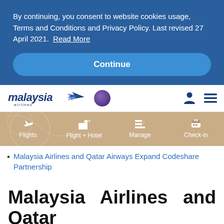By continuing, you consent to website cookies usage, Terms and Conditions and Privacy Policy. Last revised 27 April 2021. Read More
Continue
[Figure (logo): Malaysia Airlines logo with stylized bird and italic text, oneworld alliance badge, user icon, and hamburger menu icon]
[Figure (infographic): Navigation menu bar with tan/beige background showing four items: Flights, Flight + Hotel, Manage, Check-in with corresponding icons]
Malaysia Airlines and Qatar Airways Expand Codeshare Partnership
Malaysia Airlines and Qatar